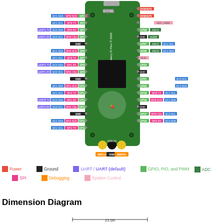[Figure (schematic): Raspberry Pi Pico pinout diagram showing all GPIO pins, power pins, ground pins, UART, SPI, I2C, ADC, PWM, and debug connections on both sides of the board with color-coded labels. Bottom shows SWCLK, GND, SWDIO debug pads.]
Power   Ground   UART / UART (default)   GPIO, PIO, and PWM   ADC   SPI   Debugging   System Control
Dimension Diagram
21.00